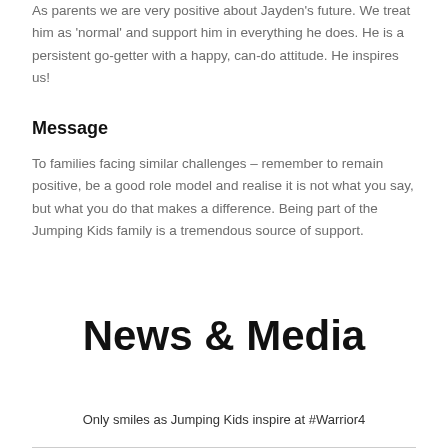As parents we are very positive about Jayden's future. We treat him as 'normal' and support him in everything he does. He is a persistent go-getter with a happy, can-do attitude. He inspires us!
Message
To families facing similar challenges – remember to remain positive, be a good role model and realise it is not what you say, but what you do that makes a difference. Being part of the Jumping Kids family is a tremendous source of support.
News & Media
Only smiles as Jumping Kids inspire at #Warrior4